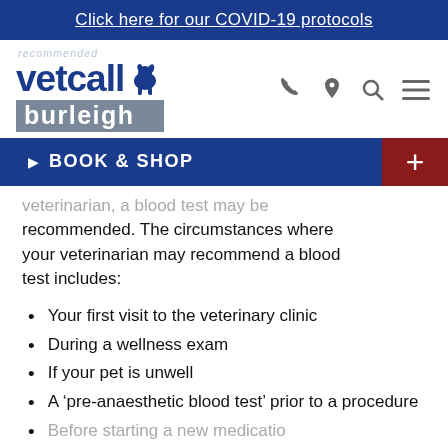Click here for our COVID-19 protocols
[Figure (logo): Vetcall Burleigh veterinary clinic logo with recommended tag, dog silhouette, and navigation icons (phone, location, search, menu)]
BOOK & SHOP +
veterinarian, a blood test may be recommended. The circumstances where your veterinarian may recommend a blood test includes:
Your first visit to the veterinary clinic
During a wellness exam
If your pet is unwell
A 'pre-anaesthetic blood test' prior to a procedure
Before starting a new medication